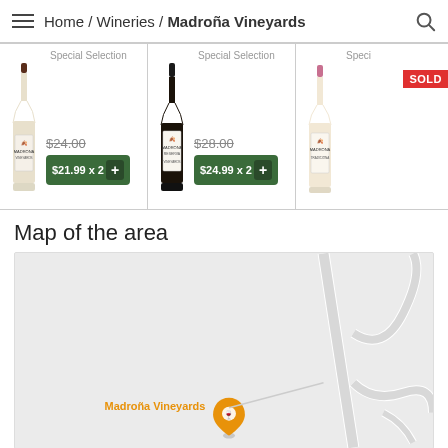Home / Wineries / Madroña Vineyards
[Figure (screenshot): Three wine bottle product cards. Card 1: Special Selection, $24.00 strikethrough, $21.99 x 2 buy button. Card 2: Special Selection, $28.00 strikethrough, $24.99 x 2 buy button. Card 3: Special Selection with SOLD badge, partial view.]
Map of the area
[Figure (map): Map showing location of Madroña Vineyards with an orange map pin and road outlines on a light grey background.]